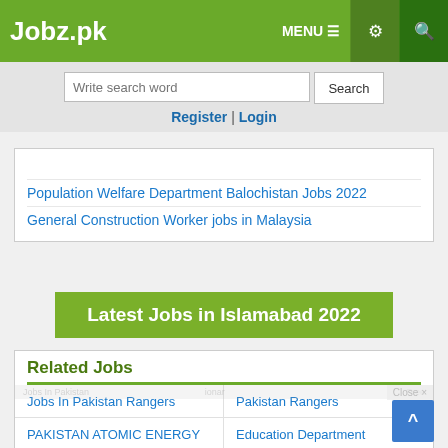Jobz.pk — MENU | Settings | Search
Write search word | Search
Register | Login
[link - partially visible]
Population Welfare Department Balochistan Jobs 2022
General Construction Worker jobs in Malaysia
Latest Jobs in Islamabad 2022
Related Jobs
Jobs In Pakistan Rangers
Pakistan Rangers
PAKISTAN ATOMIC ENERGY
Education Department
Election Commission Of Pakistan Intermediate Job
Pakistan Atomic Energy Commission Jobs
Online Data Entry Jobs
Pakistan Air Force
Pakistan Army
Director Physical Education
Pakistan Steel